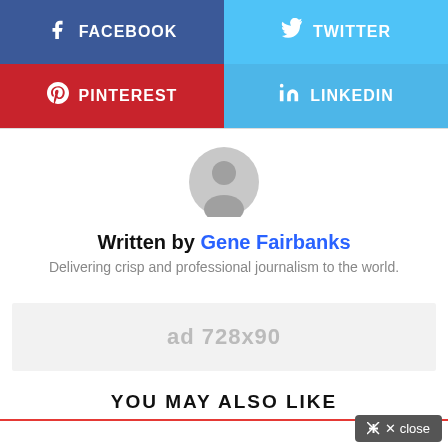[Figure (infographic): Social share buttons: Facebook (blue/indigo), Twitter (light blue), Pinterest (red), LinkedIn (light blue)]
[Figure (illustration): Generic user avatar icon (gray circle with person silhouette)]
Written by Gene Fairbanks
Delivering crisp and professional journalism to the world.
[Figure (other): Ad placeholder: ad 728x90]
YOU MAY ALSO LIKE